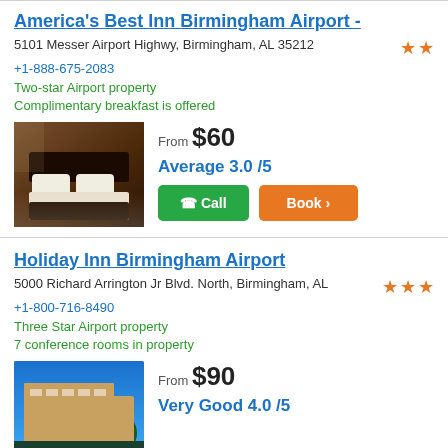America's Best Inn Birmingham Airport -
5101 Messer Airport Highwy, Birmingham, AL 35212
+1-888-675-2083
Two-star Airport property
Complimentary breakfast is offered
[Figure (photo): Hotel room interior showing a bed with white linens and dark headboard, warm lighting]
From $60
Average 3.0 /5
Holiday Inn Birmingham Airport
5000 Richard Arrington Jr Blvd. North, Birmingham, AL
+1-800-716-8490
Three Star Airport property
7 conference rooms in property
[Figure (photo): Exterior of Holiday Inn hotel building against blue sky]
From $90
Very Good 4.0 /5